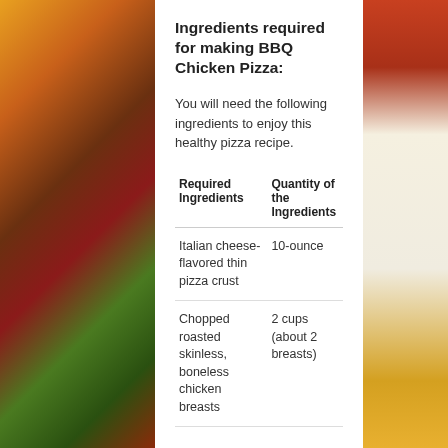Ingredients required for making BBQ Chicken Pizza:
You will need the following ingredients to enjoy this healthy pizza recipe.
| Required Ingredients | Quantity of the Ingredients |
| --- | --- |
| Italian cheese-flavored thin pizza crust | 10-ounce |
| Chopped roasted skinless, boneless chicken breasts | 2 cups (about 2 breasts) |